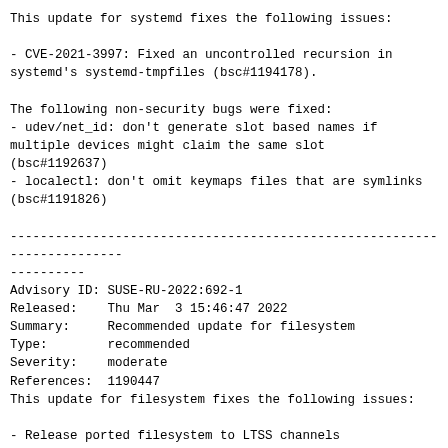This update for systemd fixes the following issues:
- CVE-2021-3997: Fixed an uncontrolled recursion in systemd's systemd-tmpfiles (bsc#1194178).
The following non-security bugs were fixed:
- udev/net_id: don't generate slot based names if multiple devices might claim the same slot (bsc#1192637)
- localectl: don't omit keymaps files that are symlinks (bsc#1191826)
------------------------------------------------------------------------
----------
Advisory ID: SUSE-RU-2022:692-1
Released:    Thu Mar  3 15:46:47 2022
Summary:     Recommended update for filesystem
Type:        recommended
Severity:    moderate
References:  1190447
This update for filesystem fixes the following issues:
- Release ported filesystem to LTSS channels (bsc#1190447).
------------------------------------------------------------------------
----------
Advisory ID: SUSE-SU-2022:727-1
Released:    Fri Mar  4 10:39:21 2022
Summary:     Security update for libeconf, shadow and